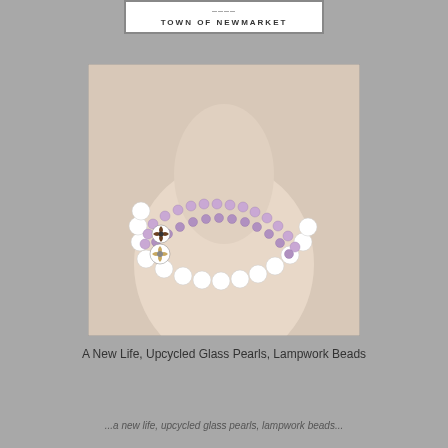TOWN OF NEWMARKET
[Figure (photo): A multi-strand necklace displayed on a mannequin bust, featuring white glass pearls and small purple/amethyst lampwork beads, with decorative floral beads as accents.]
A New Life, Upcycled Glass Pearls, Lampwork Beads
...a new life, upcycled glass pearls, lampwork beads...